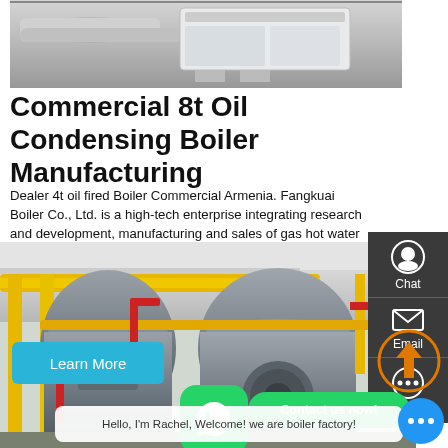[Figure (photo): Industrial boiler facility top view showing large white/gray industrial equipment in a warehouse]
Commercial 8t Oil Condensing Boiler Manufacturing
Dealer 4t oil fired Boiler Commercial Armenia. Fangkuai Boiler Co., Ltd. is a high-tech enterprise integrating research and development, manufacturing and sales of gas hot water boilers, gas steam boilers, oil gas boilers, vacuum hot water boilers and clean combustion technology boilers.
[Figure (photo): Industrial boiler room with large gray cylindrical boilers, yellow pipes, red pipes, and yellow structural support beams. Shows multiple industrial gas/oil boilers in a factory setting.]
Learn More
Hello, I'm Rachel, Welcome! we are boiler factory!
Contact us now!